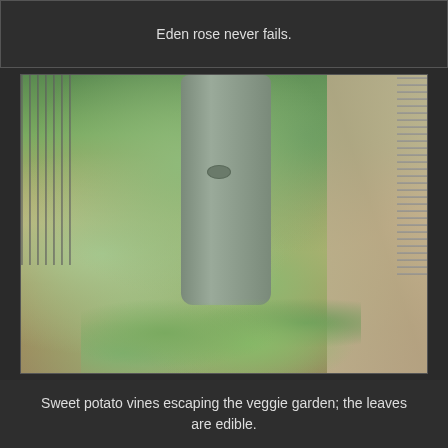Eden rose never fails.
[Figure (photo): A garden photo showing sweet potato vines growing around the base of a large tree trunk, with a wire fence on the left and a gravel path on the right]
Sweet potato vines escaping the veggie garden; the leaves are edible.